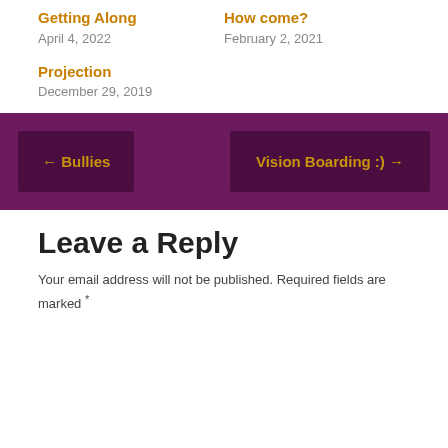Getting Along
April 4, 2022
How come?
February 2, 2021
Projection
December 29, 2019
← Bullies
Vision Boarding :) →
Leave a Reply
Your email address will not be published. Required fields are marked *